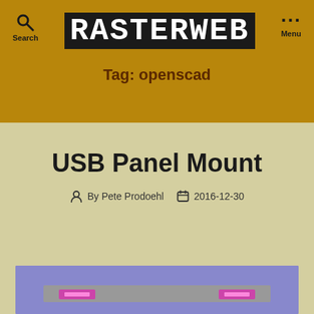RASTERWEB — Search | Menu
Tag: openscad
USB Panel Mount
By Pete Prodoehl  2016-12-30
[Figure (screenshot): Bottom portion of a 3D rendered USB panel mount object on a purple/blue background with pink/magenta colored USB connectors visible]